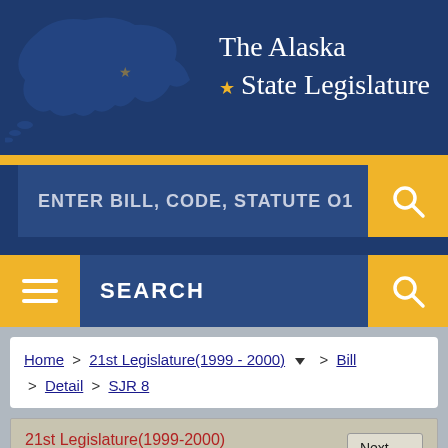[Figure (screenshot): The Alaska State Legislature website header with navy blue background, Alaska map silhouette, and title text]
ENTER BILL, CODE, STATUTE O1
SEARCH
Home > 21st Legislature(1999 - 2000) > Bill > Detail > SJR 8
21st Legislature(1999-2000)
BILL HISTORY/ACTION FOR LEGISLATURE
BILL    SJR 8